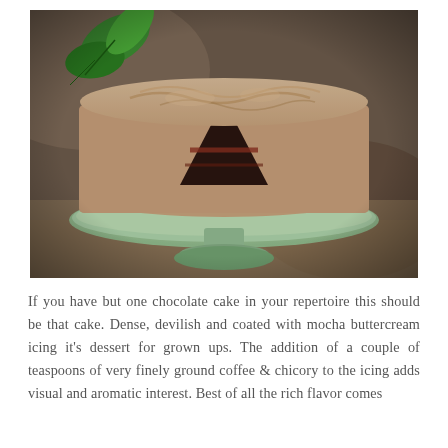[Figure (photo): A chocolate layer cake with mocha buttercream frosting on a pale green cake stand, with a slice cut out revealing dark chocolate layers inside and a chocolate filling. Green leaves are visible in the background, and the stand sits on a burlap/lace cloth.]
If you have but one chocolate cake in your repertoire this should be that cake. Dense, devilish and coated with mocha buttercream icing it's dessert for grown ups. The addition of a couple of teaspoons of very finely ground coffee & chicory to the icing adds visual and aromatic interest. Best of all the rich flavor comes